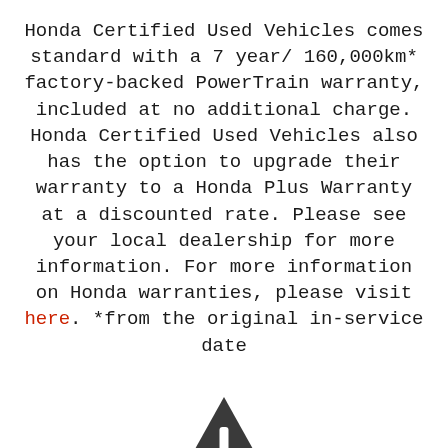Honda Certified Used Vehicles comes standard with a 7 year/ 160,000km* factory-backed PowerTrain warranty, included at no additional charge. Honda Certified Used Vehicles also has the option to upgrade their warranty to a Honda Plus Warranty at a discounted rate. Please see your local dealership for more information. For more information on Honda warranties, please visit here. *from the original in-service date
[Figure (illustration): Warning triangle icon with exclamation mark, dark gray filled triangle outline with white exclamation point inside]